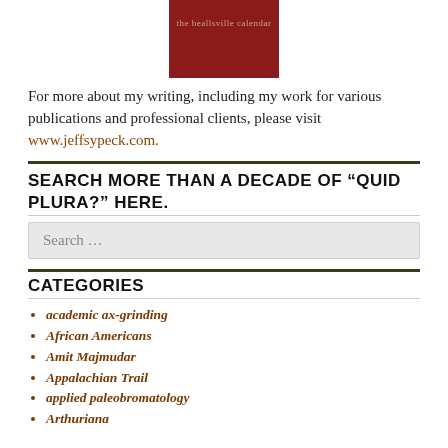[Figure (photo): Book cover image for 'the beallsville calendar' on a dark red/maroon background with tan text]
For more about my writing, including my work for various publications and professional clients, please visit wwwjeffsypeck.com.
SEARCH MORE THAN A DECADE OF “QUID PLURA?” HERE.
Search ...
CATEGORIES
academic ax-grinding
African Americans
Amit Majmudar
Appalachian Trail
applied paleobromatology
Arthuriana